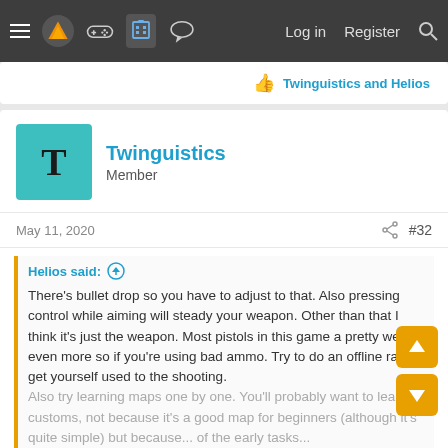Navigation bar with menu, logo, game controller icon, forum icon (active), chat icon, Log in, Register, Search
Twinguistics and Helios
Twinguistics
Member
May 11, 2020   #32
Helios said: ↑

There's bullet drop so you have to adjust to that. Also pressing control while aiming will steady your weapon. Other than that I think it's just the weapon. Most pistols in this game a pretty weak, even more so if you're using bad ammo. Try to do an offline raid to get yourself used to the shooting.
Also try learning maps one by one. You'll probably want to learn customs, not because it's a good map for beginners (although it's quite simple) but because...
Click to expand...
Thanks, yeah I'm learning Customs at the moment. It's the